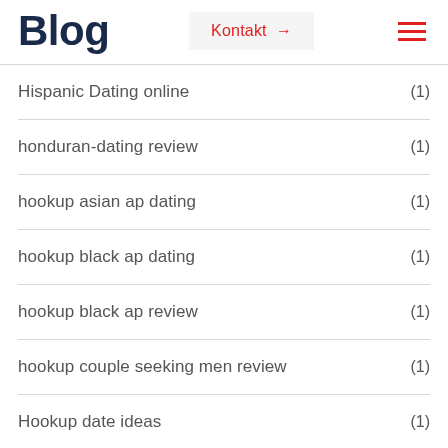Blog
Hispanic Dating online (1)
honduran-dating review (1)
hookup asian ap dating (1)
hookup black ap dating (1)
hookup black ap review (1)
hookup couple seeking men review (1)
Hookup date ideas (1)